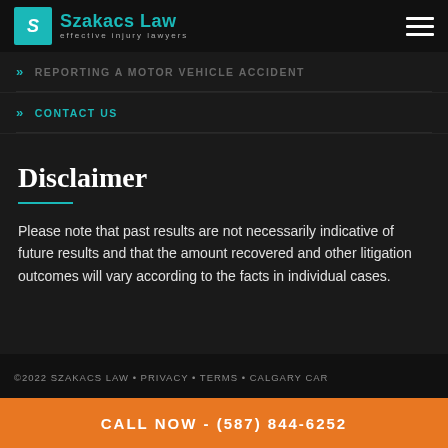Szakacs Law — effective injury lawyers
REPORTING A MOTOR VEHICLE ACCIDENT
CONTACT US
Disclaimer
Please note that past results are not necessarily indicative of future results and that the amount recovered and other litigation outcomes will vary according to the facts in individual cases.
©2022 SZAKACS LAW • PRIVACY • TERMS • CALGARY CAR
CALL NOW - (587) 844-6252